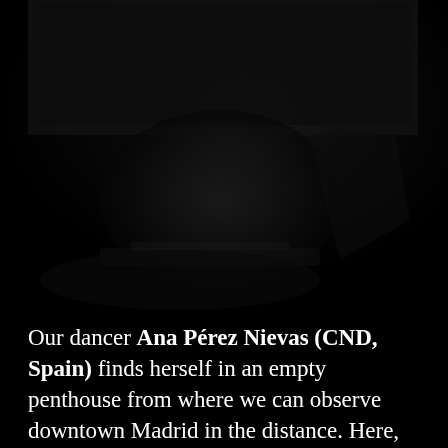[Figure (photo): A very dark, nearly black photograph of a dancer or figure in a dimly lit room or penthouse, with vague shapes barely visible in the darkness.]
Our dancer Ana Pérez Nievas (CND, Spain) finds herself in an empty penthouse from where we can observe downtown Madrid in the distance. Here, Ana will please us with a choreography brought by